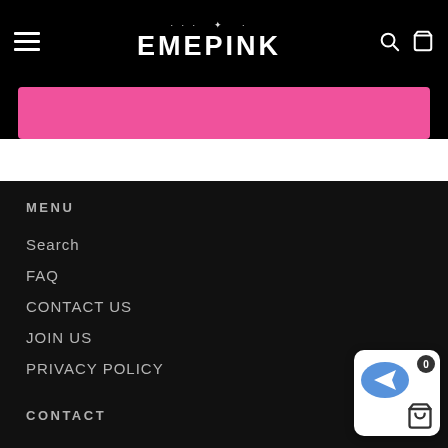EMEPINK — navigation header with hamburger menu, logo, search and cart icons
[Figure (other): Pink banner/button element]
MENU
Search
FAQ
CONTACT US
JOIN US
PRIVACY POLICY
CONTACT
[Figure (other): Bottom-right widget with blue arrow icon, shopping cart icon, and badge showing 0]